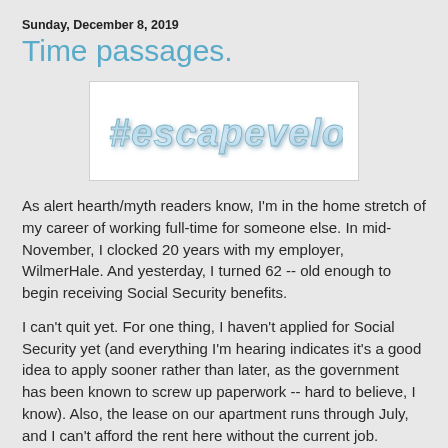Sunday, December 8, 2019
Time passages.
[Figure (illustration): Stylized italic bold text '#escapevelocity' in light blue/steel color with drop shadow effect on white background]
As alert hearth/myth readers know, I'm in the home stretch of my career of working full-time for someone else. In mid-November, I clocked 20 years with my employer, WilmerHale. And yesterday, I turned 62 -- old enough to begin receiving Social Security benefits.
I can't quit yet. For one thing, I haven't applied for Social Security yet (and everything I'm hearing indicates it's a good idea to apply sooner rather than later, as the government has been known to screw up paperwork -- hard to believe, I know). Also, the lease on our apartment runs through July, and I can't afford the rent here without the current job.
But hitting that 62nd birthday is a milestone, even if it's mostly psychological right now. I've been counting down to